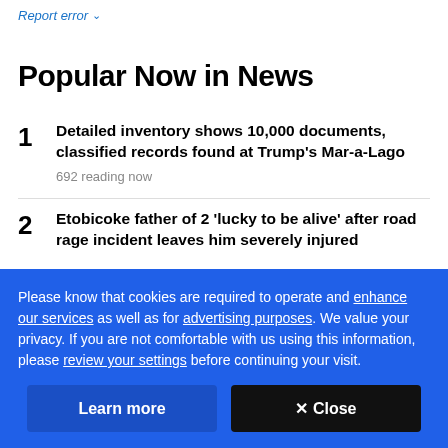Report error
Popular Now in News
Detailed inventory shows 10,000 documents, classified records found at Trump's Mar-a-Lago
692 reading now
Etobicoke father of 2 'lucky to be alive' after road rage incident leaves him severely injured
Please know that cookies are required to operate and enhance our services as well as for advertising purposes. We value your privacy. If you are not comfortable with us using this information, please review your settings before continuing your visit.